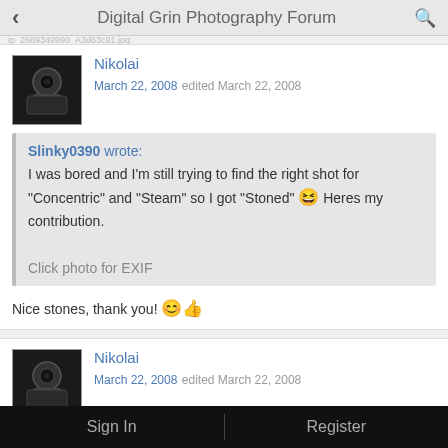Digital Grin Photography Forum
Nikolai
March 22, 2008 edited March 22, 2008
Slinky0390 wrote:
I was bored and I'm still trying to find the right shot for "Concentric" and "Steam" so I got "Stoned" 😆 Heres my contribution.

Click photo for EXIF
Nice stones, thank you! 😊👍
Nikolai
March 22, 2008 edited March 22, 2008
Sign In    Register